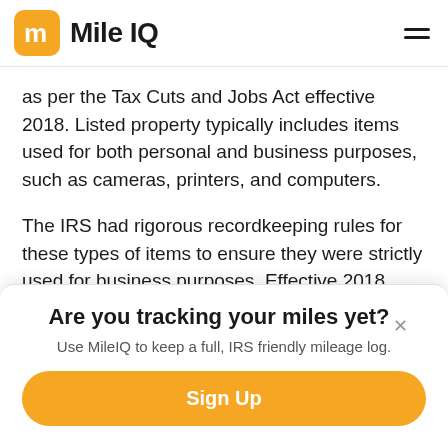MileIQ
as per the Tax Cuts and Jobs Act effective 2018. Listed property typically includes items used for both personal and business purposes, such as cameras, printers, and computers.
The IRS had rigorous recordkeeping rules for these types of items to ensure they were strictly used for business purposes. Effective 2018, there are no recordkeeping requirements
Are you tracking your miles yet?
Use MileIQ to keep a full, IRS friendly mileage log.
Sign Up